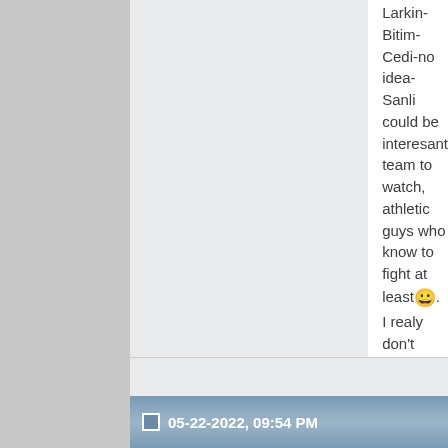Larkin-Bitim-Cedi-no idea-Sanli could be interesant team to watch, athletic guys who know to fight at least😀. I realy don't know any decent PF who could be in level with this guys. Maybe Sengun can play that position, if we can't find true PF
Last edited by janketa; 05-22-2022 at
05-22-2022, 09:54 PM